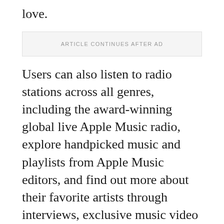love.
ARTICLE CONTINUES AFTER AD
Users can also listen to radio stations across all genres, including the award-winning global live Apple Music radio, explore handpicked music and playlists from Apple Music editors, and find out more about their favorite artists through interviews, exclusive music video content, and much more.
ALSO READ: How to: Apple Music brings Spatial Audio to Android devices